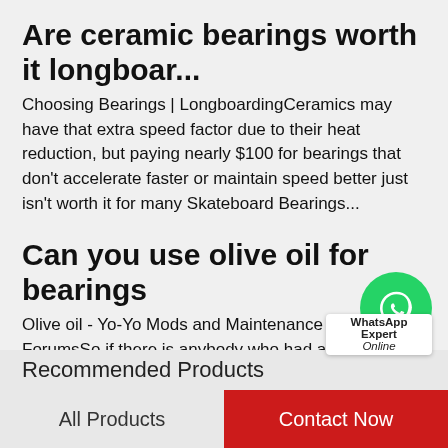Are ceramic bearings worth it longboar...
Choosing Bearings | LongboardingCeramics may have that extra speed factor due to their heat reduction, but paying nearly $100 for bearings that don't accelerate faster or maintain speed better just isn't worth it for many Skateboard Bearings...
Can you use olive oil for bearings
Olive oil - Yo-Yo Mods and Maintenance - YoYoExpert ForumsSo if there is anybody who had a bad experience using olive oil it would be appreciate to tell me Im leaning back not to try because I only have like 2 bearings What Are the Effects of...
[Figure (logo): WhatsApp green icon with phone symbol, and WhatsApp Expert Online overlay text]
Recommended Products
All Products
Contact Now